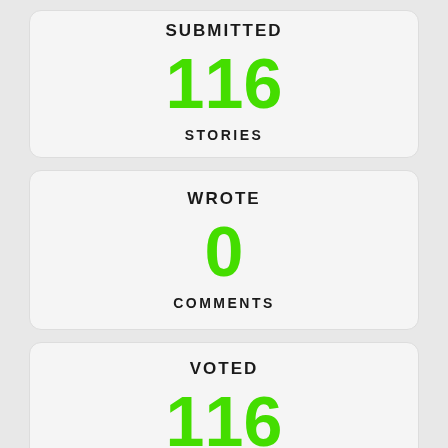SUBMITTED
116
STORIES
WROTE
0
COMMENTS
VOTED
116
STORIES